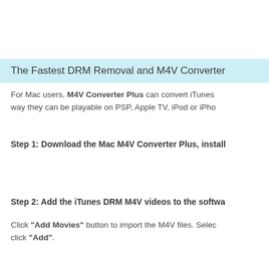The Fastest DRM Removal and M4V Converter
For Mac users, M4V Converter Plus can convert iTunes way they can be playable on PSP, Apple TV, iPod or iPho
Step 1: Download the Mac M4V Converter Plus, install
Step 2: Add the iTunes DRM M4V videos to the softwa
Click "Add Movies" button to import the M4V files. Selec click "Add".